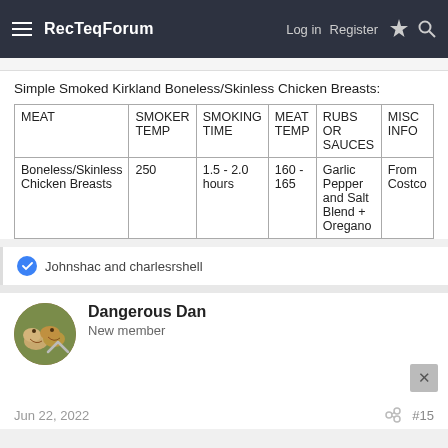RecTeqForum  Log in  Register
Simple Smoked Kirkland Boneless/Skinless Chicken Breasts:
| MEAT | SMOKER TEMP | SMOKING TIME | MEAT TEMP | RUBS OR SAUCES | MISC INFO |
| --- | --- | --- | --- | --- | --- |
| Boneless/Skinless Chicken Breasts | 250 | 1.5 - 2.0 hours | 160 - 165 | Garlic Pepper and Salt Blend + Oregano | From Costco |
Johnshac and charlesrshell
Dangerous Dan
New member
Jun 22, 2022  #15